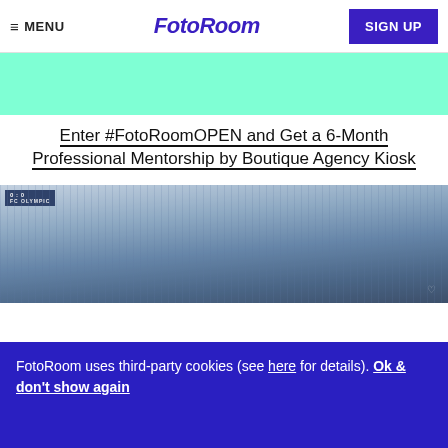≡ MENU   FotoRoom   SIGN UP
[Figure (other): Green/teal banner placeholder image]
Enter #FotoRoomOPEN and Get a 6-Month Professional Mentorship by Boutique Agency Kiosk
[Figure (photo): Crowd of football fans cheering at a stadium with a scoreboard showing 0:0 and FC Olympic visible]
FotoRoom uses third-party cookies (see here for details). Ok & don't show again